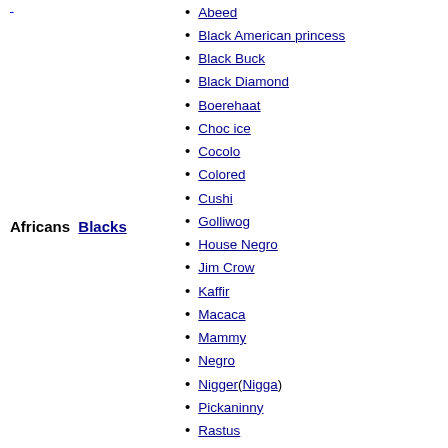[previous page link top left]
Africans  Blacks
Abeed
Black American princess
Black Buck
Black Diamond
Boerehaat
Choc ice
Cocolo
Colored
Cushi
Golliwog
House Negro
Jim Crow
Kaffir
Macaca
Mammy
Negro
Nigger (Nigga)
Pickaninny
Rastus
Queen / Queenie
Sambo
Tar-Baby
Uncle Tom
Wog